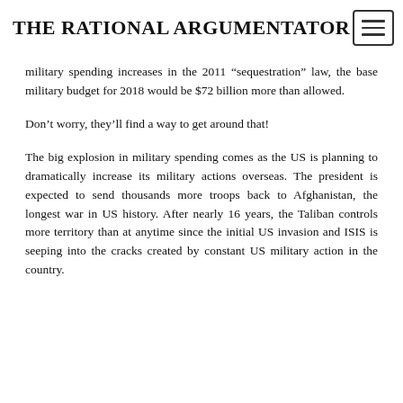THE RATIONAL ARGUMENTATOR
military spending increases in the 2011 “sequestration” law, the base military budget for 2018 would be $72 billion more than allowed.
Don’t worry, they’ll find a way to get around that!
The big explosion in military spending comes as the US is planning to dramatically increase its military actions overseas. The president is expected to send thousands more troops back to Afghanistan, the longest war in US history. After nearly 16 years, the Taliban controls more territory than at anytime since the initial US invasion and ISIS is seeping into the cracks created by constant US military action in the country.